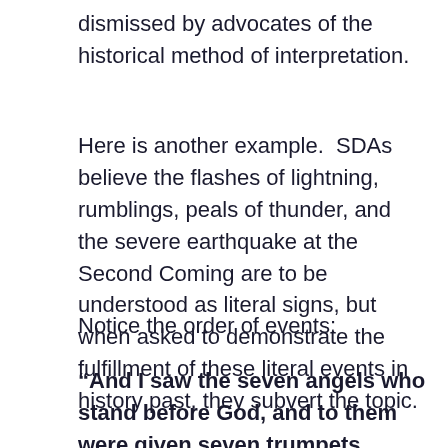dismissed by advocates of the historical method of interpretation.
Here is another example.  SDAs believe the flashes of lightning, rumblings, peals of thunder, and the severe earthquake at the Second Coming are to be understood as literal signs, but when asked to demonstrate the fulfillment of these literal events in history past, they subvert the topic.
Notice the order of events:
“And I saw the seven angels who stand before God, and to them were given seven trumpets. . . Then the angel took the censer, filled it with fire from the altar, and hurled it on the earth;